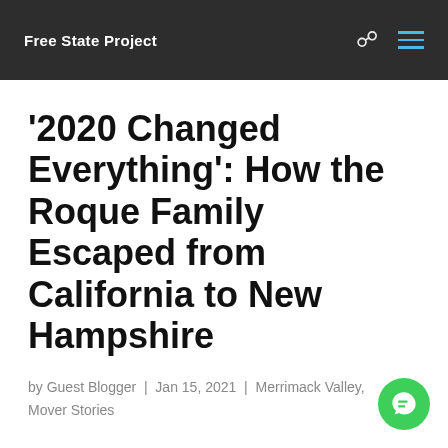Free State Project
'2020 Changed Everything': How the Roque Family Escaped from California to New Hampshire
by Guest Blogger | Jan 15, 2021 | Merrimack Valley, Mover Stories